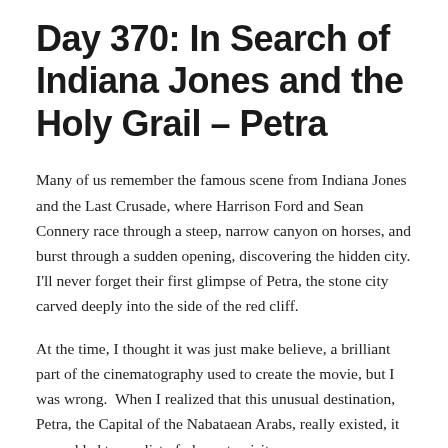Day 370: In Search of Indiana Jones and the Holy Grail – Petra
Many of us remember the famous scene from Indiana Jones and the Last Crusade, where Harrison Ford and Sean Connery race through a steep, narrow canyon on horses, and burst through a sudden opening, discovering the hidden city. I'll never forget their first glimpse of Petra, the stone city carved deeply into the side of the red cliff.
At the time, I thought it was just make believe, a brilliant part of the cinematography used to create the movie, but I was wrong. When I realized that this unusual destination, Petra, the Capital of the Nabataean Arabs, really existed, it was added to my list of places to visit.